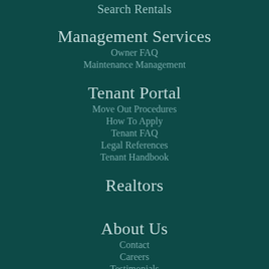Search Rentals
Management Services
Owner FAQ
Maintenance Management
Tenant Portal
Move Out Procedures
How To Apply
Tenant FAQ
Legal References
Tenant Handbook
Realtors
About Us
Contact
Careers
Testimonials
Southern Cares